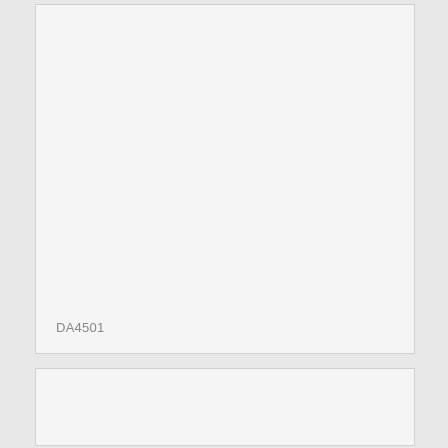[Figure (other): Large light gray rectangular box, mostly empty with label 'DA4501' in the lower left corner]
DA4501
[Figure (other): Smaller light gray rectangular box at the bottom of the page, empty]